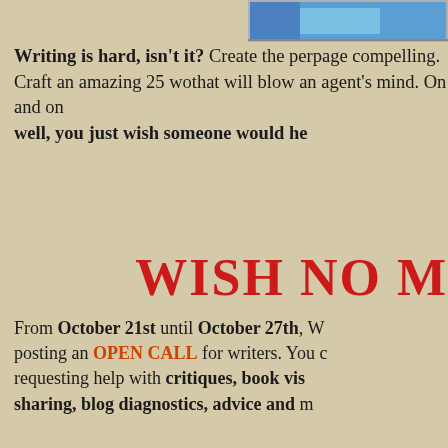[Figure (screenshot): Partial screenshot of a webpage or book cover at the top right of the page, showing a blue gradient image partially cut off]
Writing is hard, isn't it? Create the perfect page compelling. Craft an amazing 25 word that will blow an agent's mind. On and on well, you just wish someone would he
WISH NO M
From October 21st until October 27th, posting an OPEN CALL for writers. You requesting help with critiques, book vis sharing, blog diagnostics, advice and
An army of Amazing Racers are standing waiting to help with your submissions. H in a week? Let's find out! Did I mention t too–amazing authors and editors who kn page. Maybe one of them will pick your s
Each day this week, there's an AMAZI in at Angels & Bosses's new Writers Hel